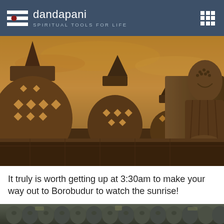dandapani SPIRITUAL TOOLS FOR LIFE
[Figure (photo): Golden-hour photograph of Borobudur temple in Indonesia, showing ornate stone stupas with diamond-shaped lattice cutouts and a large seated Buddha statue in the foreground against a warm amber sky]
It truly is worth getting up at 3:30am to make your way out to Borobudur to watch the sunrise!
[Figure (photo): Close-up photograph of carved stone relief figures and decorative stonework at Borobudur temple, showing rows of detailed sculpted faces and stupa shapes in grey stone]